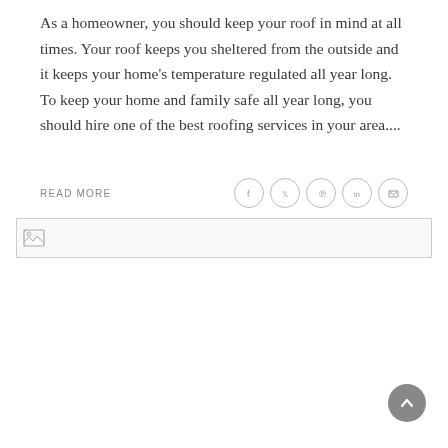As a homeowner, you should keep your roof in mind at all times. Your roof keeps you sheltered from the outside and it keeps your home's temperature regulated all year long. To keep your home and family safe all year long, you should hire one of the best roofing services in your area.... READ MORE
[Figure (other): Broken image placeholder with small icon, shown as a bordered rectangle]
[Figure (other): Scroll-to-top button, a dark gray circle with an upward chevron arrow]